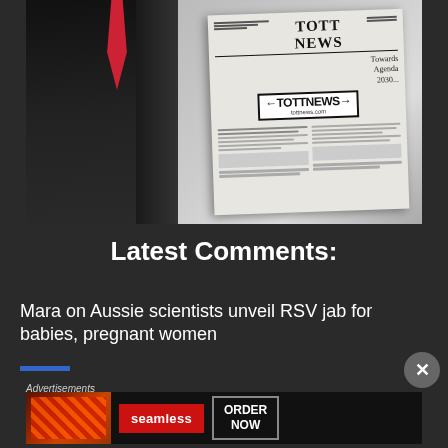[Figure (photo): Person in dark suit with red tie holding a TOTT NEWS newspaper]
Latest Comments:
Mara on Aussie scientists unveil RSV jab for babies, pregnant women
Advertisements
[Figure (infographic): Seamless food delivery advertisement banner with pizza image, Seamless logo, and ORDER NOW button]